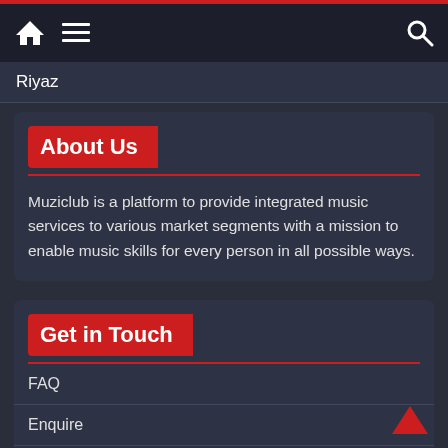Navigation bar with home icon, menu icon, and search icon
Riyaz
About Us
Muziclub is a platform to provide integrated music services to various market segments with a mission to enable music skills for every person in all possible ways.
Get in Touch
FAQ
Enquire
Contact Us